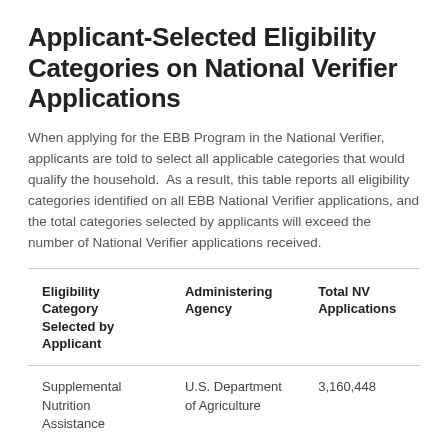Applicant-Selected Eligibility Categories on National Verifier Applications
When applying for the EBB Program in the National Verifier, applicants are told to select all applicable categories that would qualify the household.  As a result, this table reports all eligibility categories identified on all EBB National Verifier applications, and the total categories selected by applicants will exceed the number of National Verifier applications received.
| Eligibility Category Selected by Applicant | Administering Agency | Total NV Applications |
| --- | --- | --- |
| Supplemental Nutrition Assistance | U.S. Department of Agriculture | 3,160,448 |